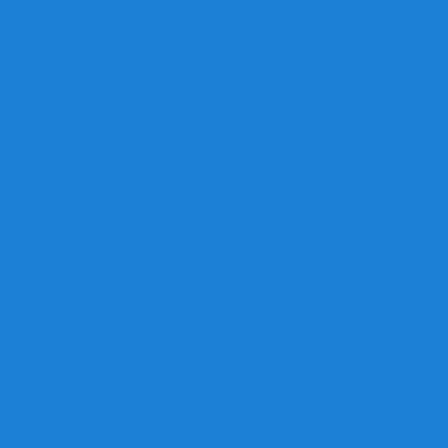[Figure (screenshot): E-commerce product listing page showing Vietnamese DVD movies with blue sidebar on left and product cards on right]
Vo Dang Nhat Kiem
Viet Nam
DVD34197
$15.99
Buy Now!
[Figure (photo): DVD cover for Luc Luong Phan Ung 2021 - Armed Reaction showing action scene with multiple characters on green background]
Luc Luong Phan Ung 2021 - Armed Reaction
Viet Nam
DVD34132
$12.99
Buy Now!
[Figure (photo): Partial DVD cover image, mostly white/blank at bottom of page]